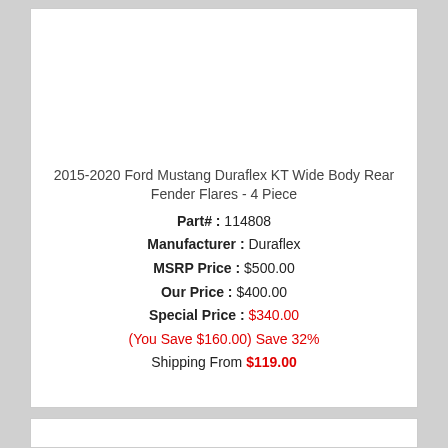2015-2020 Ford Mustang Duraflex KT Wide Body Rear Fender Flares - 4 Piece
Part# : 114808
Manufacturer : Duraflex
MSRP Price : $500.00
Our Price : $400.00
Special Price : $340.00
(You Save $160.00) Save 32%
Shipping From $119.00